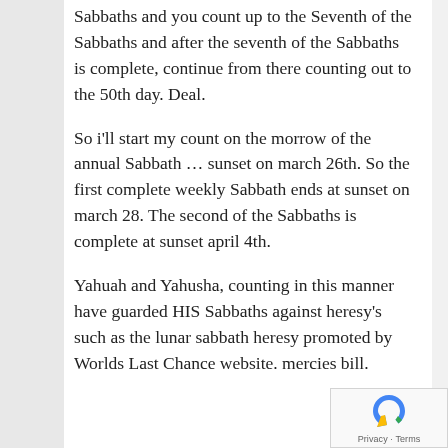Sabbaths and you count up to the Seventh of the Sabbaths and after the seventh of the Sabbaths is complete, continue from there counting out to the 50th day. Deal.
So i'll start my count on the morrow of the annual Sabbath … sunset on march 26th. So the first complete weekly Sabbath ends at sunset on march 28. The second of the Sabbaths is complete at sunset april 4th.
Yahuah and Yahusha, counting in this manner have guarded HIS Sabbaths against heresy's such as the lunar sabbath heresy promoted by Worlds Last Chance website. mercies bill.